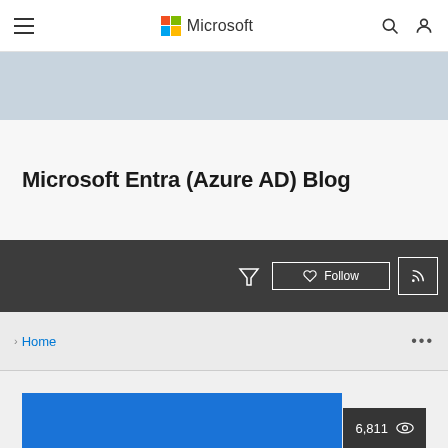Microsoft
[Figure (photo): Hero banner image of a Microsoft office or technology environment, partially visible at top of page]
Microsoft Entra (Azure AD) Blog
[Figure (infographic): Dark toolbar with filter icon, Follow button with heart icon, and RSS feed button]
> Home ... 6,811 views
[Figure (screenshot): Preview of a blog post card with blue image and view counter showing 6,811]